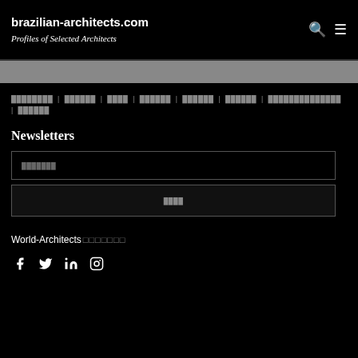brazilian-architects.com — Profiles of Selected Architects
□□□□□□□□ | □□□□□□ | □□□□ | □□□□□□ | □□□□□□ | □□□□□□ | □□□□□□□□□□□□ | □□□□□□
Newsletters
□□□□□□□ (input field placeholder)
□□□□ (submit button)
World-Architects□□□□□□□
Social icons: Facebook, Twitter, LinkedIn, Instagram